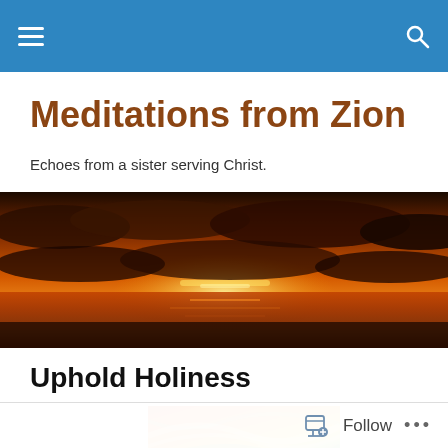Navigation bar with hamburger menu and search icon
Meditations from Zion
Echoes from a sister serving Christ.
[Figure (photo): Wide panoramic sunset photo with dramatic orange and red sky, clouds silhouetted, reflected light on water below]
Uphold Holiness
[Figure (photo): Colorful swirling abstract art with warm orange, red, yellow, and green/blue tones]
Follow  •••